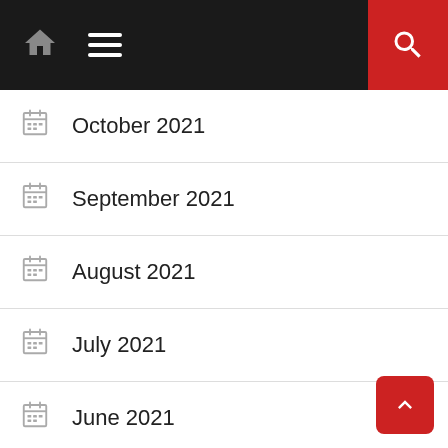Navigation bar with home icon, hamburger menu, and search button
October 2021
September 2021
August 2021
July 2021
June 2021
May 2021
April 2021
March 2021
February 2021